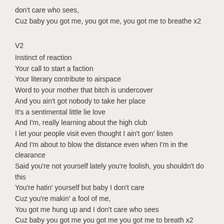don't care who sees,
Cuz baby you got me, you got me, you got me to breathe x2
V2
Instinct of reaction
Your call to start a faction
Your literary contribute to airspace
Word to your mother that bitch is undercover
And you ain't got nobody to take her place
It's a sentimental little lie love
And I'm, really learning about the high club
I let your people visit even thought I ain't gon' listen
And I'm about to blow the distance even when I'm in the clearance
Said you're not yourself lately you're foolish, you shouldn't do this
You're hatin' yourself but baby I don't care
Cuz you're makin' a fool of me,
You got me hung up and I don't care who sees
Cuz baby you got me you got me you got me to breath x2